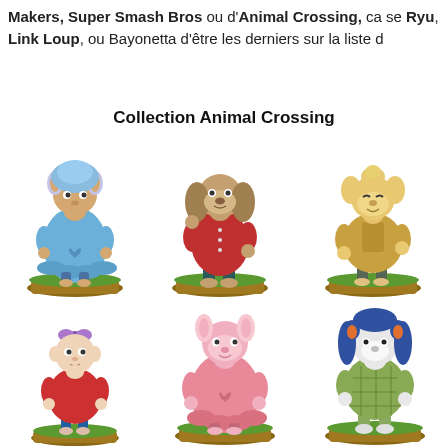Makers, Super Smash Bros ou d'Animal Crossing, ca se Ryu, Link Loup, ou Bayonetta d'être les derniers sur la liste d
Collection Animal Crossing
[Figure (photo): Six Animal Crossing amiibo figurines arranged in two rows of three. Top row: Cyrus (blue alpaca), Digby (brown dog in red shirt), Isabelle (yellow dog in fall outfit). Bottom row: a female villager in red outfit, Reese (pink alpaca), Roscoe (blue horse).]